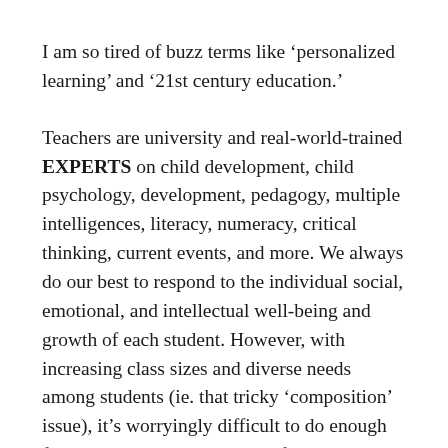I am so tired of buzz terms like ‘personalized learning’ and ‘21st century education.’
Teachers are university and real-world-trained EXPERTS on child development, child psychology, development, pedagogy, multiple intelligences, literacy, numeracy, critical thinking, current events, and more. We always do our best to respond to the individual social, emotional, and intellectual well-being and growth of each student. However, with increasing class sizes and diverse needs among students (ie. that tricky ‘composition’ issue), it’s worryingly difficult to do enough for our students. There’s no defined ‘end’ to our work,